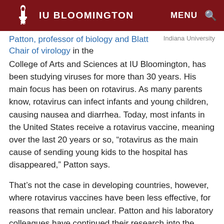IU BLOOMINGTON  MENU
Patton, professor of biology and Blatt Chair of virology in the College of Arts and Sciences at IU Bloomington, has been studying viruses for more than 30 years. His main focus has been on rotavirus. As many parents know, rotavirus can infect infants and young children, causing nausea and diarrhea. Today, most infants in the United States receive a rotavirus vaccine, meaning over the last 20 years or so, “rotavirus as the main cause of sending young kids to the hospital has disappeared,” Patton says.
That’s not the case in developing countries, however, where rotavirus vaccines have been less effective, for reasons that remain unclear. Patton and his laboratory colleagues have continued their research into the biology of rotavirus and its development as a vector for creating